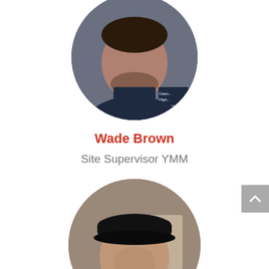[Figure (photo): Circular profile photo of Wade Brown, a man with dark beard wearing a navy blue shirt with logo text]
Wade Brown
Site Supervisor YMM
[Figure (photo): Circular profile photo of Chris Perrin, a man wearing a black cap and high-visibility vest with orange and yellow stripes]
Chris Perrin